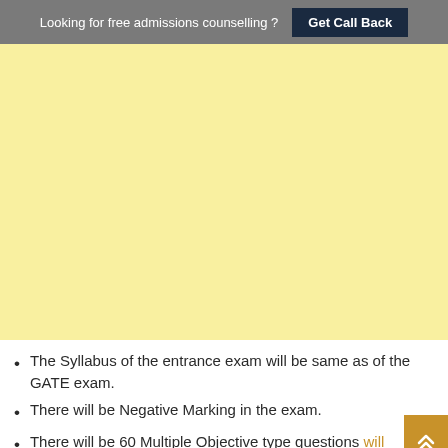Looking for free admissions counselling ? Get Call Back
[Figure (other): Yellow advertisement banner area]
The Syllabus of the entrance exam will be same as of the GATE exam.
There will be Negative Marking in the exam.
There will be 60 Multiple Objective type questions will